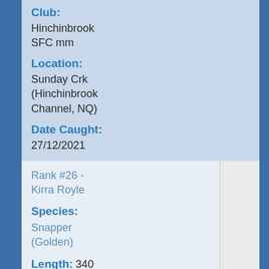Club:
Hinchinbrook SFC mm
Location:
Sunday Crk (Hinchinbrook Channel, NQ)
Date Caught:
27/12/2021
Rank #26 - Kirra Royle
Species:
Snapper (Golden)
Length: 340 mm